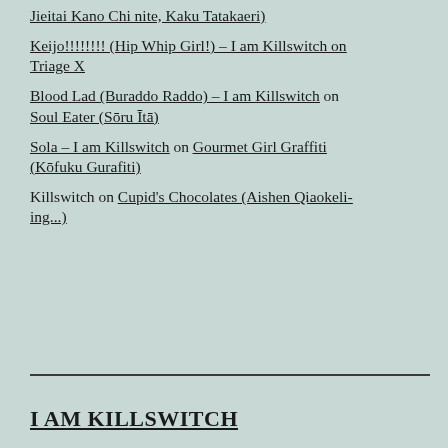Jieitai Kano Chi nite, Kaku Tatakaeri)
Keijo!!!!!!!! (Hip Whip Girl!) – I am Killswitch on Triage X
Blood Lad (Buraddo Raddo) – I am Killswitch on Soul Eater (Sōru Ītā)
Sola – I am Killswitch on Gourmet Girl Graffiti (Kōfuku Gurafiti)
Killswitch on Cupid's Chocolates (Aishen Qiaokeli-ing...)
I AM KILLSWITCH